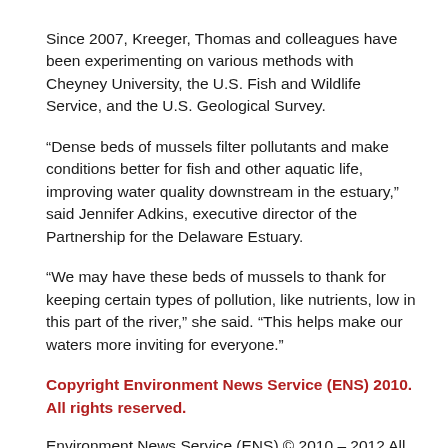Since 2007, Kreeger, Thomas and colleagues have been experimenting on various methods with Cheyney University, the U.S. Fish and Wildlife Service, and the U.S. Geological Survey.
“Dense beds of mussels filter pollutants and make conditions better for fish and other aquatic life, improving water quality downstream in the estuary,” said Jennifer Adkins, executive director of the Partnership for the Delaware Estuary.
“We may have these beds of mussels to thank for keeping certain types of pollution, like nutrients, low in this part of the river,” she said. “This helps make our waters more inviting for everyone.”
Copyright Environment News Service (ENS) 2010. All rights reserved.
Environment News Service (ENS) © 2010 – 2012 All Rights Reserved.